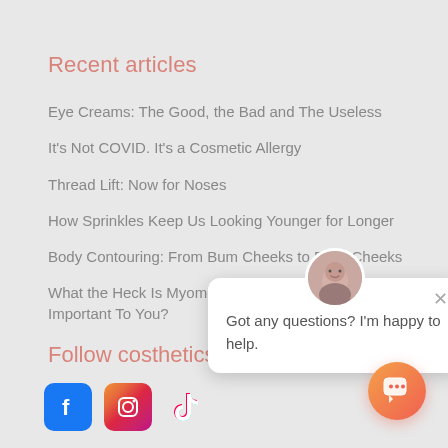Recent articles
Eye Creams: The Good, the Bad and The Useless
It's Not COVID. It's a Cosmetic Allergy
Thread Lift: Now for Noses
How Sprinkles Keep Us Looking Younger for Longer
Body Contouring: From Bum Cheeks to Face Cheeks
What the Heck Is Myomodulation, and Why Is It Important To You?
[Figure (screenshot): Chat popup with avatar. Text: Got any questions? I'm happy to help. With close (x) button.]
Follow costhetics
[Figure (logo): Facebook, Instagram, and TikTok social media icons]
[Figure (other): Orange gradient chat/support button in bottom right corner]